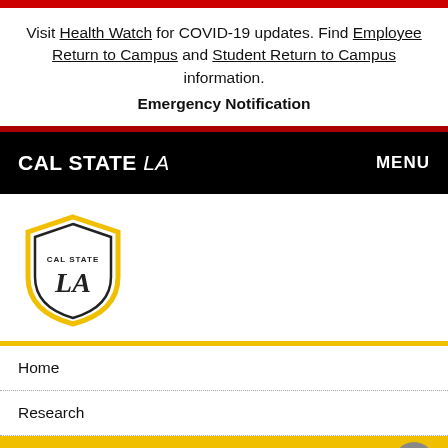Visit Health Watch for COVID-19 updates. Find Employee Return to Campus and Student Return to Campus information.
Emergency Notification
CAL STATE LA   MENU
[Figure (logo): Cal State LA shield logo with text CAL STATE LA inside a hexagonal shield shape with gold and black outline]
Home
Research
Meet the Lab
Meet the Lab